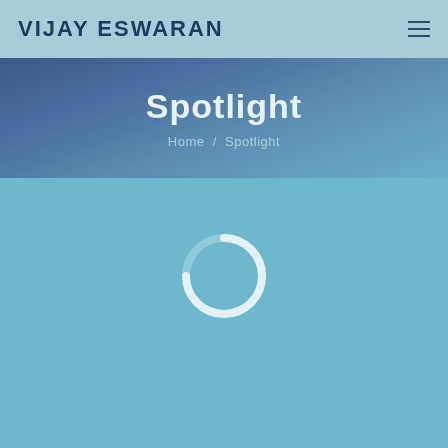VIJAY ESWARAN
Spotlight
Home / Spotlight
[Figure (other): Loading spinner circle indicator on light blue background]